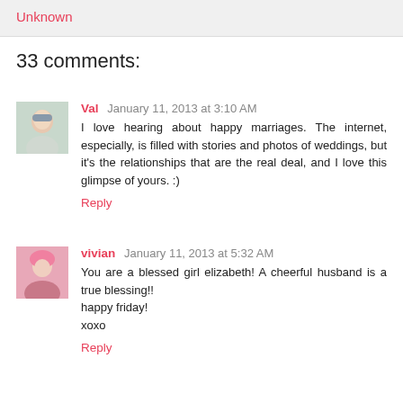Unknown
33 comments:
Val  January 11, 2013 at 3:10 AM
I love hearing about happy marriages. The internet, especially, is filled with stories and photos of weddings, but it's the relationships that are the real deal, and I love this glimpse of yours. :)
Reply
vivian  January 11, 2013 at 5:32 AM
You are a blessed girl elizabeth! A cheerful husband is a true blessing!!
happy friday!
xoxo
Reply